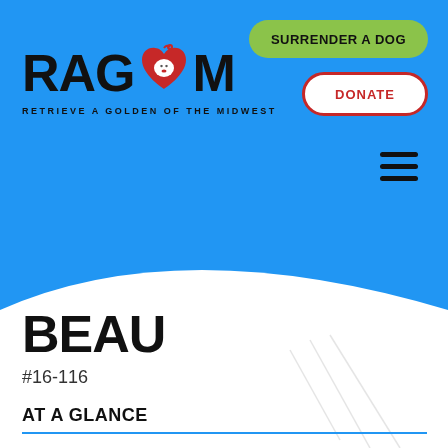[Figure (logo): RAGOM logo - Retrieve a Golden of the Midwest, with a red heart containing a golden retriever face as the O in RAGOM]
SURRENDER A DOG
DONATE
BEAU
#16-116
AT A GLANCE